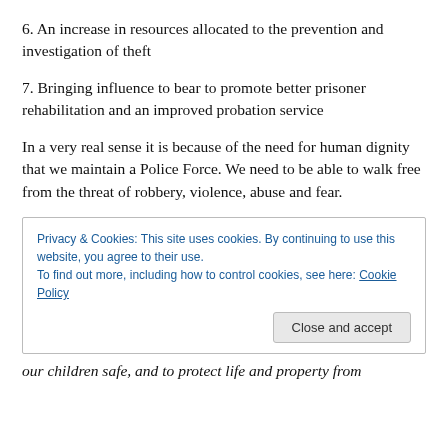6. An increase in resources allocated to the prevention and investigation of theft
7. Bringing influence to bear to promote better prisoner rehabilitation and an improved probation service
In a very real sense it is because of the need for human dignity that we maintain a Police Force. We need to be able to walk free from the threat of robbery, violence, abuse and fear.
Privacy & Cookies: This site uses cookies. By continuing to use this website, you agree to their use.
To find out more, including how to control cookies, see here: Cookie Policy
our children safe, and to protect life and property from